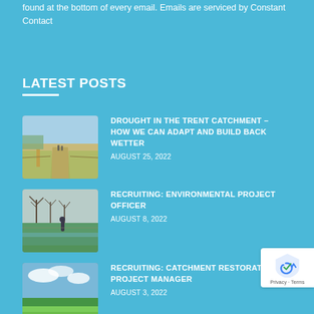found at the bottom of every email. Emails are serviced by Constant Contact
LATEST POSTS
[Figure (photo): A dry dirt path stretching into the distance with people walking on it and fields on either side, milestone post in foreground]
DROUGHT IN THE TRENT CATCHMENT – HOW WE CAN ADAPT AND BUILD BACK WETTER
AUGUST 25, 2022
[Figure (photo): A person standing by a ditch or small waterway with bare trees and vegetation in the background]
RECRUITING: ENVIRONMENTAL PROJECT OFFICER
AUGUST 8, 2022
[Figure (photo): A green field with open sky, catchment restoration landscape]
RECRUITING: CATCHMENT RESTORATION PROJECT MANAGER
AUGUST 3, 2022